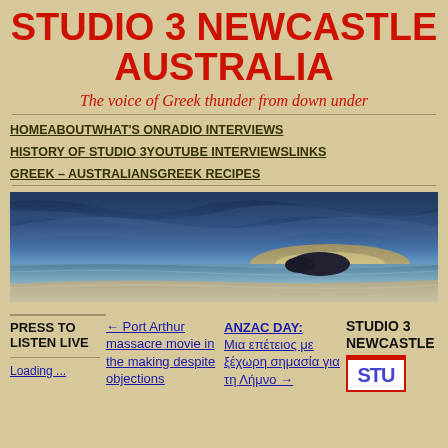STUDIO 3 NEWCASTLE AUSTRALIA
The voice of Greek thunder from down under
HOME
ABOUT
WHAT'S ON
RADIO INTERVIEWS
HISTORY OF STUDIO 3
YOUTUBE INTERVIEWS
LINKS
GREEK – AUSTRALIANS
GREEK RECIPES
[Figure (photo): Panoramic coastal landscape photo with blue sky, clouds, and beach at dusk/dawn]
PRESS TO LISTEN LIVE
Loading ...
← Port Arthur massacre movie in the making despite objections
ANZAC DAY: Μια επέτειος με ξέχωρη σημασία για τη Λήμνο →
STUDIO 3 NEWCASTLE